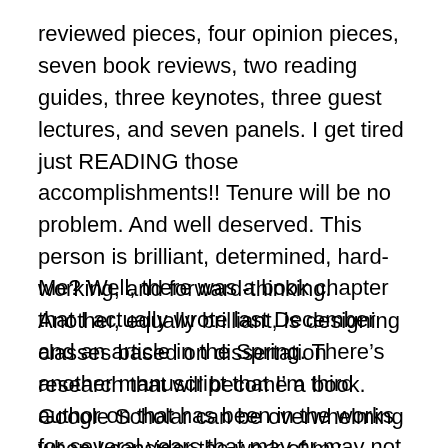reviewed pieces, four opinion pieces, seven book reviews, two reading guides, three keynotes, three guest lectures, and seven panels. I get tired just READING those accomplishments!! Tenure will be no problem. And well deserved. This person is brilliant, determined, hard-working, and forward-thinking. Another, equally brilliant, is designing classes based on dissertation research that will become a book. Google Scholar can be overwhelming when I consider the work of my friends and acquaintances.
Me? Well, there was a book chapter that I actually wrote last December and an article in the Spring. There’s another manuscript that I’m third author on that has been in the works for several years that may or may not ever find a home. At the moment, I don’t have any academic